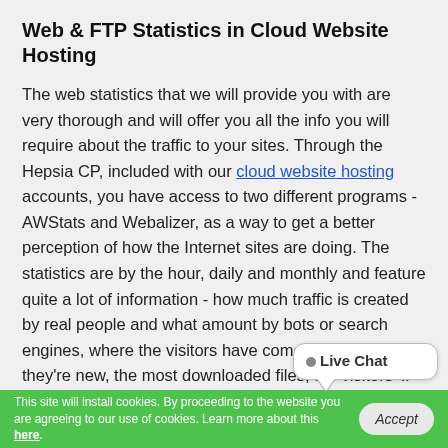Web & FTP Statistics in Cloud Website Hosting
The web statistics that we will provide you with are very thorough and will offer you all the info you will require about the traffic to your sites. Through the Hepsia CP, included with our cloud website hosting accounts, you have access to two different programs - AWStats and Webalizer, as a way to get a better perception of how the Internet sites are doing. The statistics are by the hour, daily and monthly and feature quite a lot of information - how much traffic is created by real people and what amount by bots or search engines, where the visitors have come from and if they're new, the most downloaded files, the visitors' IP addresses, and so on. This information is shown in graphs and tables and you can save it if you
[Figure (other): Live Chat speech bubble widget overlay]
This site will install cookies. By proceeding to the website you are agreeing to our use of cookies. Learn more about this here.